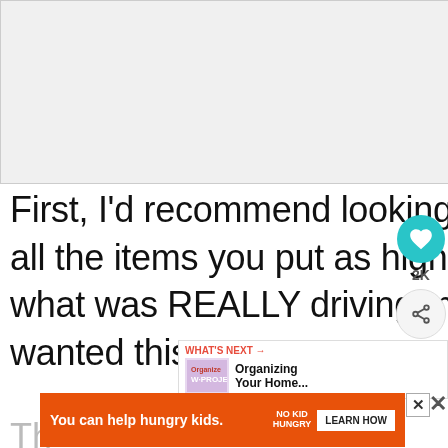[Figure (photo): Placeholder image area, light gray background]
First, I'd recommend looking through your list and picking out all the items you put as high priority. For me, I thought about what was REALLY driving me crazy or things I REALLY wanted this yea...
[Figure (infographic): Social sharing sidebar with teal heart button showing 2K count and share button]
[Figure (infographic): What's Next bar: Organizing Your Home...]
[Figure (infographic): Ad banner: You can help hungry kids. No Kid Hungry. Learn How.]